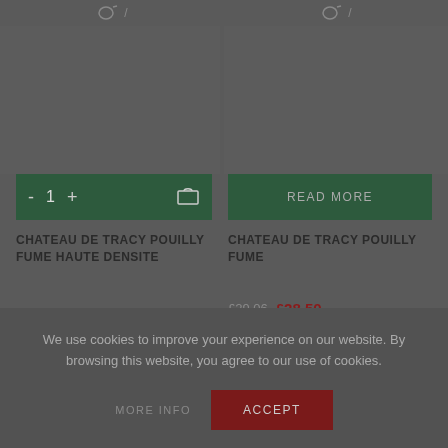[Figure (screenshot): Top icon bar showing cart/wishlist icons for two product columns]
[Figure (screenshot): Left product image area - grey background placeholder]
[Figure (screenshot): Right product image area - grey background placeholder]
[Figure (screenshot): Green add-to-cart button with quantity controls (- 1 +) and cart icon]
[Figure (screenshot): Green READ MORE button]
CHATEAU DE TRACY POUILLY FUME HAUTE DENSITE
£59.14 £58.64
CHATEAU DE TRACY POUILLY FUME
£29.06 £28.50
We use cookies to improve your experience on our website. By browsing this website, you agree to our use of cookies.
MORE INFO
ACCEPT